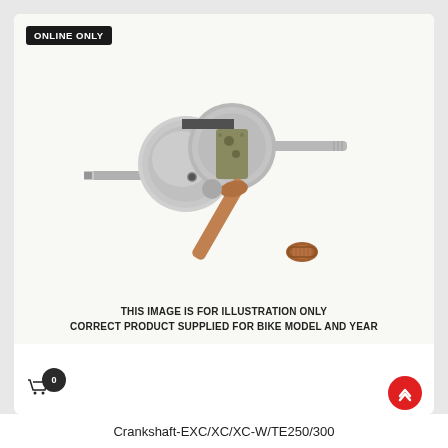[Figure (photo): A crankshaft assembly with two circular flywheel halves, a connecting rod with bronze small end, and two protruding shaft ends, displayed on a white background. Illustration of a motorcycle engine crankshaft.]
THIS IMAGE IS FOR ILLUSTRATION ONLY
CORRECT PRODUCT SUPPLIED FOR BIKE MODEL AND YEAR
Crankshaft-EXC/XC/XC-W/TE250/300